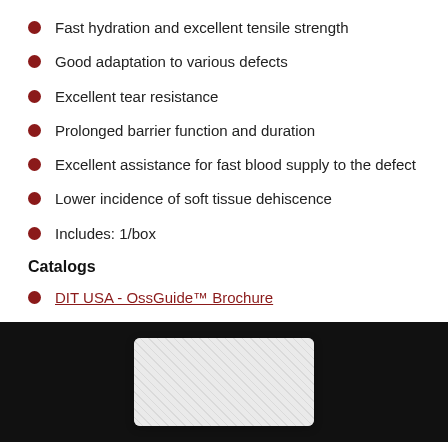Fast hydration and excellent tensile strength
Good adaptation to various defects
Excellent tear resistance
Prolonged barrier function and duration
Excellent assistance for fast blood supply to the defect
Lower incidence of soft tissue dehiscence
Includes: 1/box
Catalogs
DIT USA - OssGuide™ Brochure
[Figure (photo): Product photo of OssGuide membrane on black background]